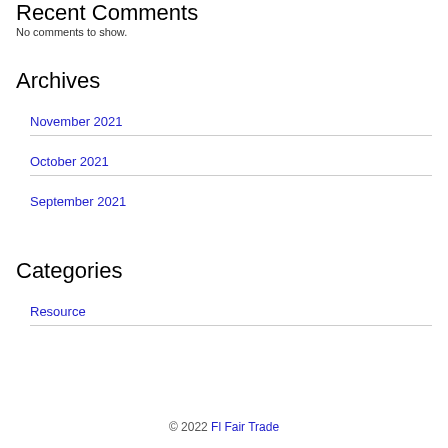Recent Comments
No comments to show.
Archives
November 2021
October 2021
September 2021
Categories
Resource
© 2022 Fl Fair Trade